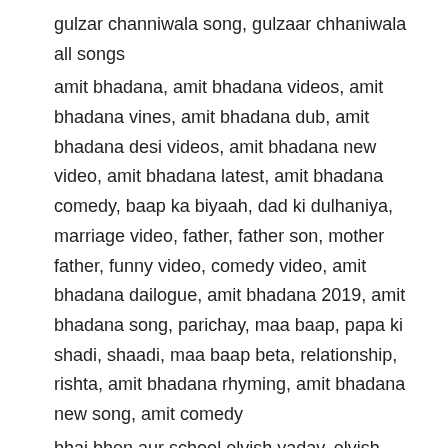gulzar channiwala song, gulzaar chhaniwala all songs
amit bhadana, amit bhadana videos, amit bhadana vines, amit bhadana dub, amit bhadana desi videos, amit bhadana new video, amit bhadana latest, amit bhadana comedy, baap ka biyaah, dad ki dulhaniya, marriage video, father, father son, mother father, funny video, comedy video, amit bhadana dailogue, amit bhadana 2019, amit bhadana song, parichay, maa baap, papa ki shadi, shaadi, maa baap beta, relationship, rishta, amit bhadana rhyming, amit bhadana new song, amit comedy
bhai bhen aur school elvish yadav, elvish yadav new video, elvish yadav bhai bhen, elvish yadav school, elvish yadav sibbu giri, elvish yadav latest video,